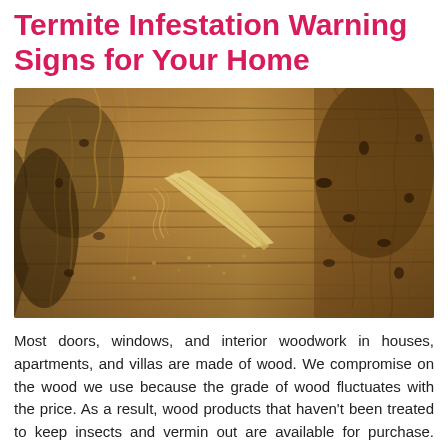Termite Infestation Warning Signs for Your Home
[Figure (photo): Close-up photograph of termite-damaged wood showing heavily eroded, fibrous, and tunneled wood surface with frass and exposed internal wood grain, highlighting termite infestation damage.]
Most doors, windows, and interior woodwork in houses, apartments, and villas are made of wood. We compromise on the wood we use because the grade of wood fluctuates with the price. As a result, wood products that haven't been treated to keep insects and vermin out are available for purchase. Termites begin their work at [...]